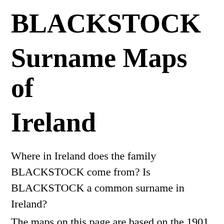BLACKSTOCK Surname Maps of Ireland
Where in Ireland does the family BLACKSTOCK come from? Is BLACKSTOCK a common surname in Ireland?
The maps on this page are based on the 1901 and 1911 census of Ireland, the data for which is available